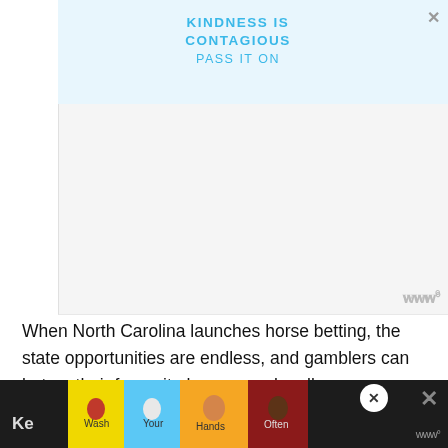[Figure (other): Advertisement banner with light blue background showing 'KINDNESS IS CONTAGIOUS PASS IT ON' text in blue, with a close X button in top right]
[Figure (other): Large blank/white video player area with a watermark 'www' logo in bottom right corner]
When North Carolina launches horse betting, the state opportunities are endless, and gamblers can bet on their favourite horse race legally.
[Figure (other): Bottom advertisement bar with dark background on left, yellow section with colorful hand-washing illustrations (Wash Your Hands Often), close X button, and watermark logo]